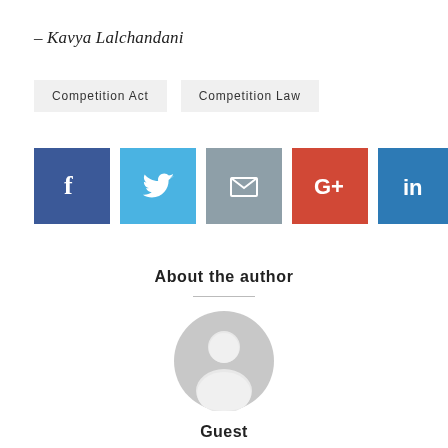– Kavya Lalchandani
Competition Act
Competition Law
[Figure (other): Social media share buttons: Facebook, Twitter, Email, Google+, LinkedIn]
About the author
[Figure (illustration): Generic guest author avatar – circular grey silhouette of a person]
Guest